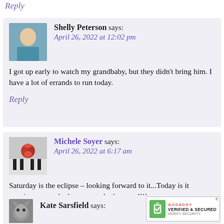Reply
Shelly Peterson says: April 26, 2022 at 12:02 pm
I got up early to watch my grandbaby, but they didn't bring him. I have a lot of errands to run today.
Reply
Michele Soyer says: April 26, 2022 at 6:17 am
Saturday is the eclipse – looking forward to it...Today is it pouring – so sad – have to study then read!!!
Reply
Kate Sarsfield says:
[Figure (logo): GoDaddy Verified & Secured security badge]